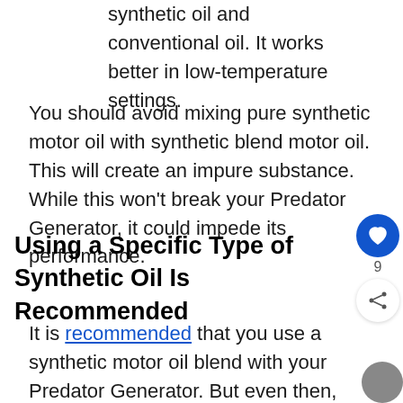synthetic oil and conventional oil. It works better in low-temperature settings.
You should avoid mixing pure synthetic motor oil with synthetic blend motor oil. This will create an impure substance. While this won't break your Predator Generator, it could impede its performance.
Using a Specific Type of Synthetic Oil Is Recommended
It is recommended that you use a synthetic motor oil blend with your Predator Generator. But even then, within this category come some differences. Below is a chart that covers which type of synthetic